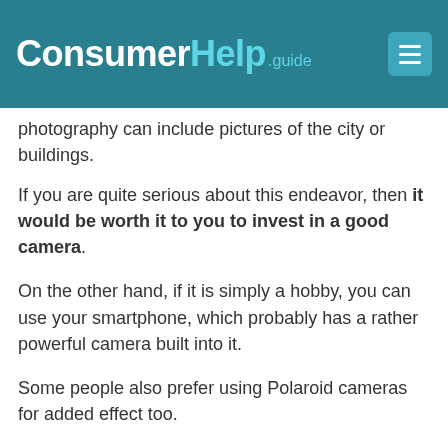ConsumerHelp.guide
photography can include pictures of the city or buildings.
If you are quite serious about this endeavor, then it would be worth it to you to invest in a good camera.
On the other hand, if it is simply a hobby, you can use your smartphone, which probably has a rather powerful camera built into it.
Some people also prefer using Polaroid cameras for added effect too.
49. Outdoor Movie